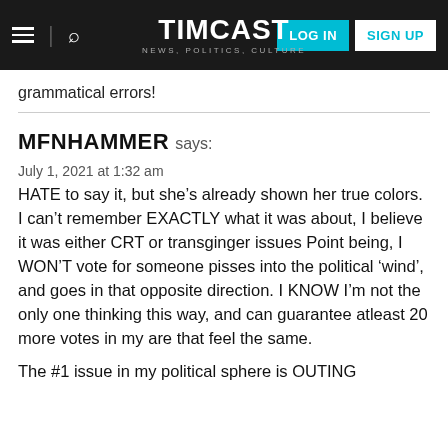TIMCAST | NEWS, POLITICS, CULTURE | LOG IN | SIGN UP
grammatical errors!
MFNHAMMER says:
July 1, 2021 at 1:32 am
HATE to say it, but she’s already shown her true colors. I can’t remember EXACTLY what it was about, I believe it was either CRT or transginger issues Point being, I WON’T vote for someone pisses into the political ‘wind’, and goes in that opposite direction. I KNOW I’m not the only one thinking this way, and can guarantee atleast 20 more votes in my are that feel the same.
The #1 issue in my political sphere is OUTING